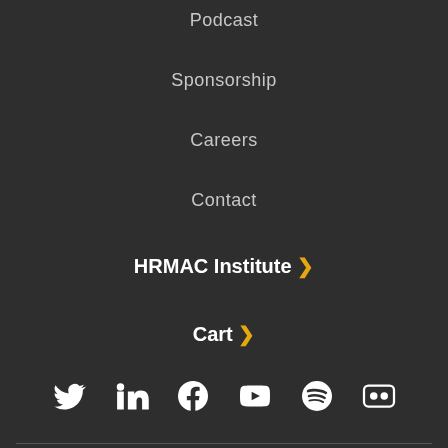Podcast
Sponsorship
Careers
Contact
HRMAC Institute >
Cart >
[Figure (infographic): Social media icons row: Twitter, LinkedIn, Facebook, YouTube, Spotify, Flickr]